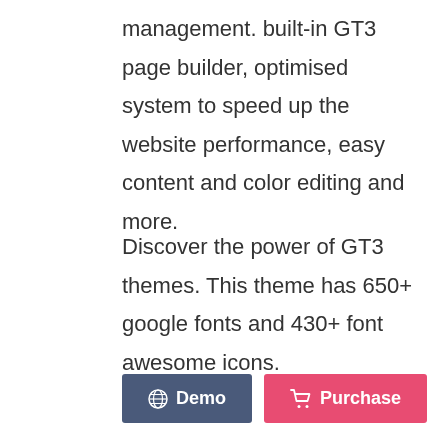management. built-in GT3 page builder, optimised system to speed up the website performance, easy content and color editing and more.
Discover the power of GT3 themes. This theme has 650+ google fonts and 430+ font awesome icons.
Demo  Purchase